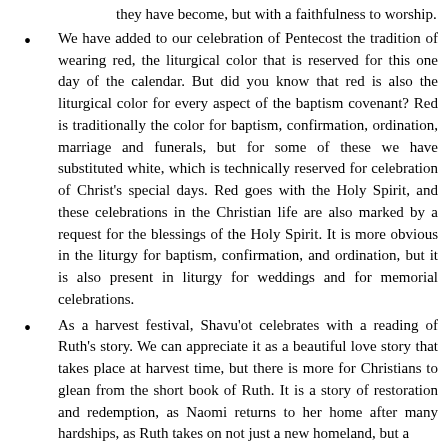they have become, but with a faithfulness to worship.
We have added to our celebration of Pentecost the tradition of wearing red, the liturgical color that is reserved for this one day of the calendar. But did you know that red is also the liturgical color for every aspect of the baptism covenant? Red is traditionally the color for baptism, confirmation, ordination, marriage and funerals, but for some of these we have substituted white, which is technically reserved for celebration of Christ's special days. Red goes with the Holy Spirit, and these celebrations in the Christian life are also marked by a request for the blessings of the Holy Spirit. It is more obvious in the liturgy for baptism, confirmation, and ordination, but it is also present in liturgy for weddings and for memorial celebrations.
As a harvest festival, Shavu'ot celebrates with a reading of Ruth's story. We can appreciate it as a beautiful love story that takes place at harvest time, but there is more for Christians to glean from the short book of Ruth. It is a story of restoration and redemption, as Naomi returns to her home after many hardships, as Ruth takes on not just a new homeland, but a